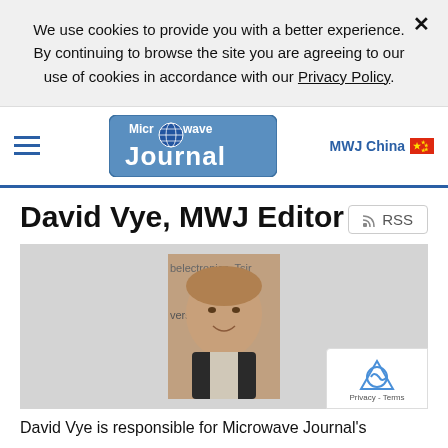We use cookies to provide you with a better experience. By continuing to browse the site you are agreeing to our use of cookies in accordance with our Privacy Policy.
[Figure (logo): Microwave Journal logo with globe icon in blue rounded rectangle]
MWJ China
David Vye, MWJ Editor
RSS
[Figure (photo): Headshot photo of David Vye in front of a backdrop with electronics text]
David Vye is responsible for Microwave Journal's